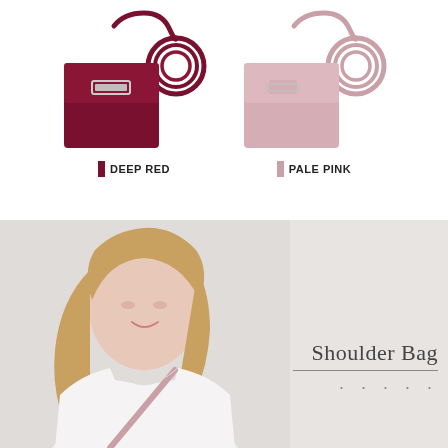[Figure (illustration): Two crossbody shoulder bags shown side by side. Left bag is deep red/burgundy color with silver buckle clasp and long strap coiled behind. Right bag is pale pink with silver buckle clasp and long strap coiled behind.]
DEEP RED
PALE PINK
[Figure (photo): Young woman with long blonde hair wearing a white t-shirt with a pale pink crossbody shoulder bag strap across her chest, photographed against a light gray background.]
Shoulder Bag